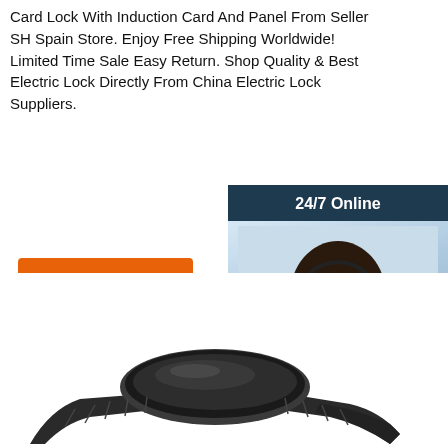Card Lock With Induction Card And Panel From Seller SH Spain Store. Enjoy Free Shipping Worldwide! Limited Time Sale Easy Return. Shop Quality & Best Electric Lock Directly From China Electric Lock Suppliers.
[Figure (illustration): Orange 'Get Price' button]
[Figure (photo): Sidebar advertisement with '24/7 Online' header, photo of a woman with headset smiling, text 'Click here for free chat!', and orange QUOTATION button]
[Figure (illustration): Orange 'TOP' badge with dot triangle above text]
[Figure (photo): Dark smartwatch/wristwatch shown from side angle at bottom of page]